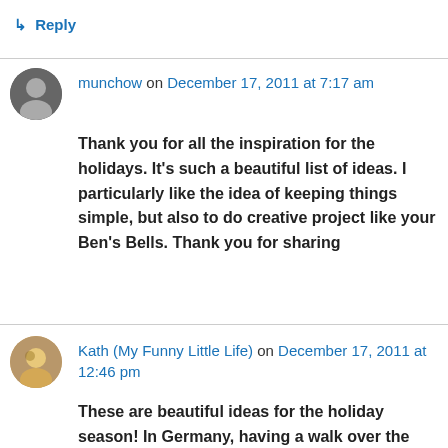munchow on December 17, 2011 at 7:17 am
Thank you for all the inspiration for the holidays. It's such a beautiful list of ideas. I particularly like the idea of keeping things simple, but also to do creative project like your Ben's Bells. Thank you for sharing
↳ Reply
Kath (My Funny Little Life) on December 17, 2011 at 12:46 pm
These are beautiful ideas for the holiday season! In Germany, having a walk over the Christmas market and enjoying a mug of hot